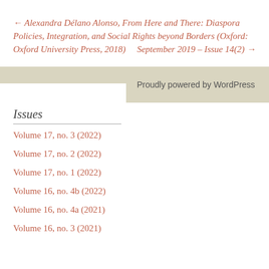← Alexandra Délano Alonso, From Here and There: Diaspora Policies, Integration, and Social Rights beyond Borders (Oxford: Oxford University Press, 2018)                    September 2019 – Issue 14(2) →
Proudly powered by WordPress
Issues
Volume 17, no. 3 (2022)
Volume 17, no. 2 (2022)
Volume 17, no. 1 (2022)
Volume 16, no. 4b (2022)
Volume 16, no. 4a (2021)
Volume 16, no. 3 (2021)